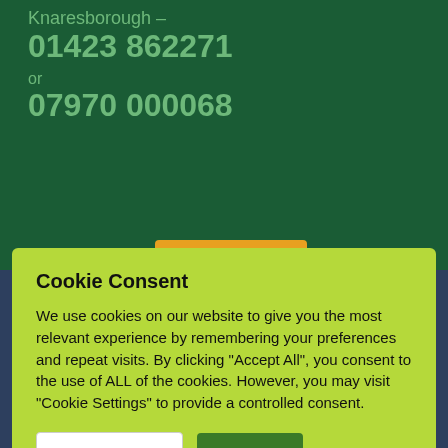Knaresborough – 01423 862271
or
07970 000068
Cookie Consent
We use cookies on our website to give you the most relevant experience by remembering your preferences and repeat visits. By clicking "Accept All", you consent to the use of ALL of the cookies. However, you may visit "Cookie Settings" to provide a controlled consent.
FAQs
Organisation & Members
Document Library